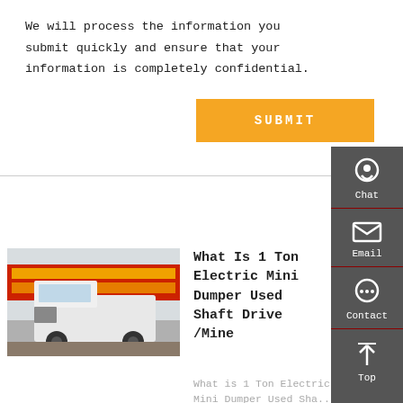We will process the information you submit quickly and ensure that your information is completely confidential.
SUBMIT
[Figure (photo): Front view of a white heavy-duty truck (SINOTRUK HOWO T7H) parked in front of a wall with Chinese text banners]
What Is 1 Ton Electric Mini Dumper Used Shaft Drive /Mine
What is 1 Ton Electric Mini Dumper Used Sha...